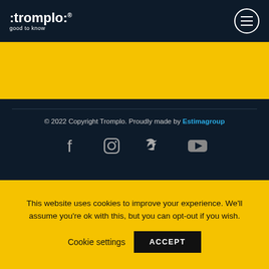:tromplo: good to know
[Figure (other): Yellow advertisement banner area]
© 2022 Copyright Tromplo. Proudly made by Estimagroup
[Figure (other): Social media icons: Facebook, Instagram, Twitter, YouTube]
[Figure (other): Award banner: Living and Learning with Animals Certificate of Excellence 2018]
This website uses cookies to improve your experience. We'll assume you're ok with this, but you can opt-out if you wish. Cookie settings ACCEPT